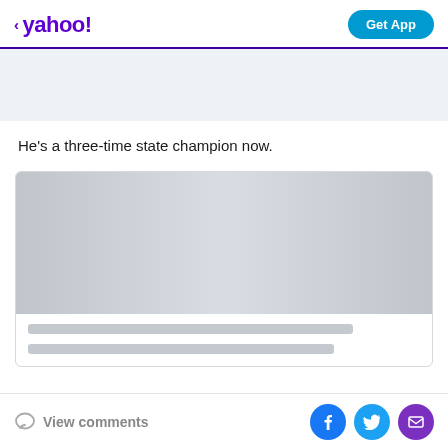< yahoo! | Get App
[Figure (other): Light blue-gray advertisement banner area]
He's a three-time state champion now.
[Figure (other): Embedded content card with gray image placeholder and two gray loading skeleton lines]
View comments | Facebook share | Twitter share | Email share